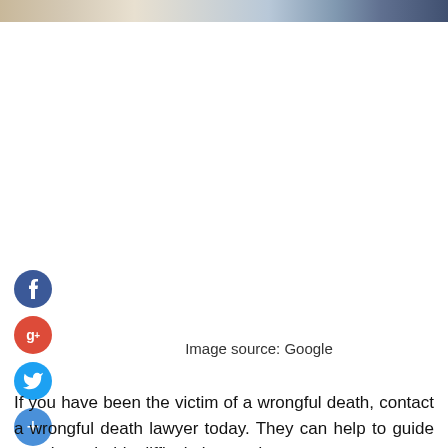[Figure (photo): Partial image strip at the top of the page showing a blurred photo scene]
[Figure (illustration): Social media share buttons: Facebook (blue circle with f), Google+ (red circle with g+), Twitter (blue circle with bird icon), and a blue plus circle]
Image source: Google
If you have been the victim of a wrongful death, contact a wrongful death lawyer today. They can help to guide you through this difficult time and ensure